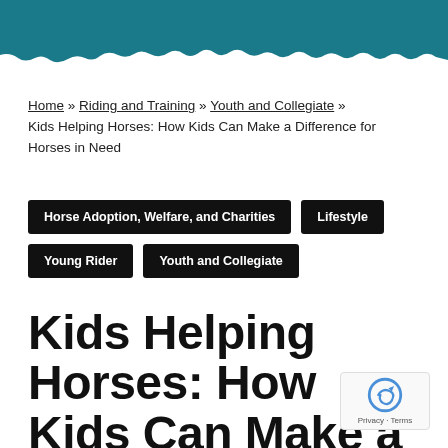[Figure (illustration): Teal/dark blue decorative header banner with torn paper edge effect at the bottom]
Home » Riding and Training » Youth and Collegiate » Kids Helping Horses: How Kids Can Make a Difference for Horses in Need
Horse Adoption, Welfare, and Charities
Lifestyle
Young Rider
Youth and Collegiate
Kids Helping Horses: How Kids Can Make a Difference for Horses in Need